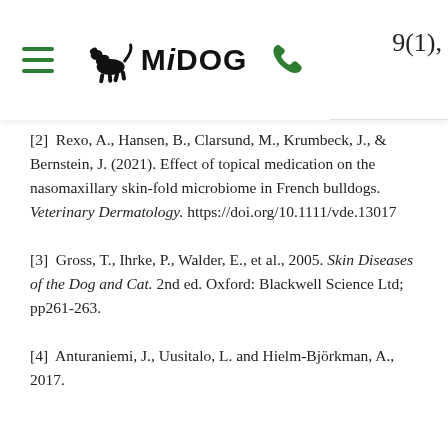MiDOG | 9(1),
[2]  Rexo, A., Hansen, B., Clarsund, M., Krumbeck, J., & Bernstein, J. (2021). Effect of topical medication on the nasomaxillary skin-fold microbiome in French bulldogs. Veterinary Dermatology. https://doi.org/10.1111/vde.13017
[3]  Gross, T., Ihrke, P., Walder, E., et al., 2005. Skin Diseases of the Dog and Cat. 2nd ed. Oxford: Blackwell Science Ltd; pp261-263.
[4]  Anturaniemi, J., Uusitalo, L. and Hielm-Björkman, A., 2017.